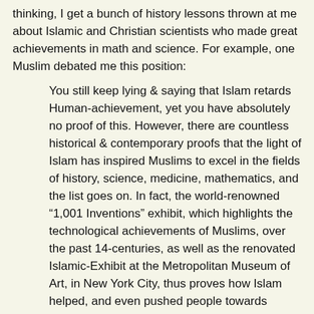thinking, I get a bunch of history lessons thrown at me about Islamic and Christian scientists who made great achievements in math and science. For example, one Muslim debated me this position:
You still keep lying & saying that Islam retards Human-achievement, yet you have absolutely no proof of this. However, there are countless historical & contemporary proofs that the light of Islam has inspired Muslims to excel in the fields of history, science, medicine, mathematics, and the list goes on. In fact, the world-renowned “1,001 Inventions” exhibit, which highlights the technological achievements of Muslims, over the past 14-centuries, as well as the renovated Islamic-Exhibit at the Metropolitan Museum of Art, in New York City, thus proves how Islam helped, and even pushed people towards greater understanding of the cosmos, art, mathematics, technology, etc